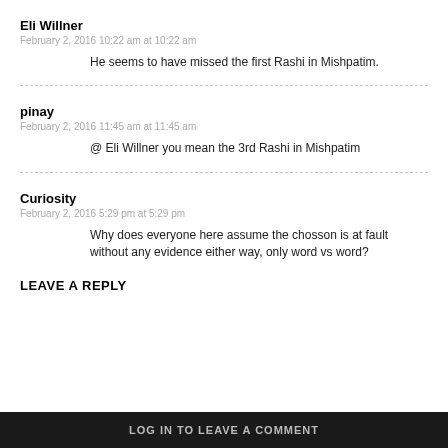Eli Willner
February 2, 2016 10:22 am at 10:22 am
He seems to have missed the first Rashi in Mishpatim.
pinay
February 2, 2016 11:45 am at 11:45 am
@ Eli Willner you mean the 3rd Rashi in Mishpatim
Curiosity
February 2, 2016 5:29 pm at 5:29 pm
Why does everyone here assume the chosson is at fault without any evidence either way, only word vs word?
LEAVE A REPLY
LOG IN TO LEAVE A COMMENT